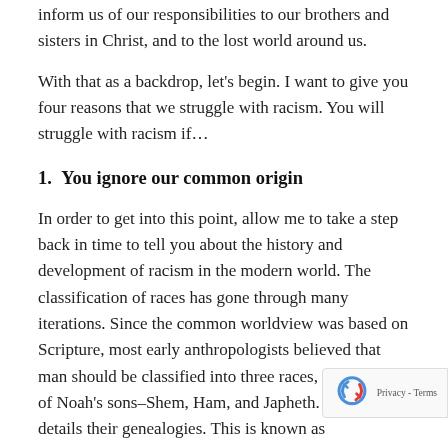inform us of our responsibilities to our brothers and sisters in Christ, and to the lost world around us.
With that as a backdrop, let's begin. I want to give you four reasons that we struggle with racism. You will struggle with racism if…
1.  You ignore our common origin
In order to get into this point, allow me to take a step back in time to tell you about the history and development of racism in the modern world. The classification of races has gone through many iterations. Since the common worldview was based on Scripture, most early anthropologists believed that man should be classified into three races, one for each of Noah's sons–Shem, Ham, and Japheth. Genesis 10 details their genealogies. This is known as monogenesis–that all peoples of the world, regardless of race, spring from a common origin.